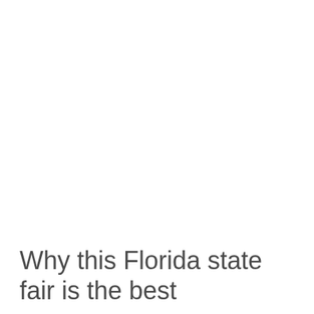Why this Florida state fair is the best